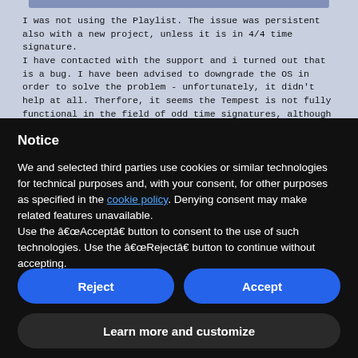I was not using the Playlist. The issue was persistent also with a new project, unless it is in 4/4 time signature.
I have contacted with the support and i turned out that is a bug. I have been advised to downgrade the OS in order to solve the problem - unfortunately, it didn't help at all. Therfore, it seems the Tempest is not fully functional in the field of odd time signatures, although being theoretically able to play them.
Notice
We and selected third parties use cookies or similar technologies for technical purposes and, with your consent, for other purposes as specified in the cookie policy. Denying consent may make related features unavailable.
Use the â€œAcceptâ€ button to consent to the use of such technologies. Use the â€œRejectâ€ button to continue without accepting.